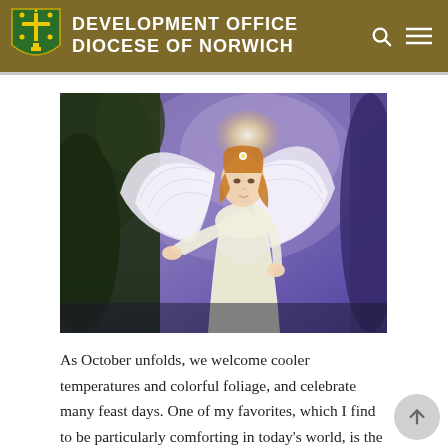Development Office Diocese of Norwich
[Figure (illustration): Painting of a guardian angel in white robes with large white wings and a glowing halo, standing in front of trees with a purple sky background, reaching out with one hand.]
As October unfolds, we welcome cooler temperatures and colorful foliage, and celebrate many feast days. One of my favorites, which I find to be particularly comforting in today's world, is the Feast of the Guardian Angel on